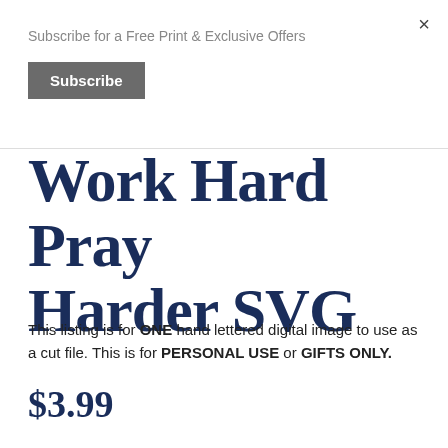Subscribe for a Free Print & Exclusive Offers
Subscribe
×
Work Hard Pray Harder SVG
This listing is for ONE hand lettered digital image to use as a cut file. This is for PERSONAL USE or GIFTS ONLY.
$3.99